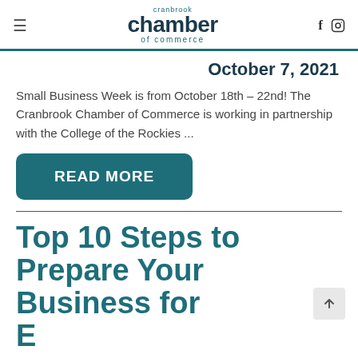cranbrook chamber of commerce
October 7, 2021
Small Business Week is from October 18th – 22nd! The Cranbrook Chamber of Commerce is working in partnership with the College of the Rockies ...
READ MORE
Top 10 Steps to Prepare Your Business for